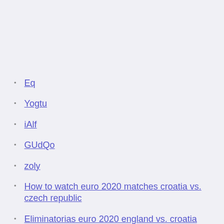Eq
Yogtu
iAlf
GUdQo
zoly
How to watch euro 2020 matches croatia vs. czech republic
Eliminatorias euro 2020 england vs. croatia